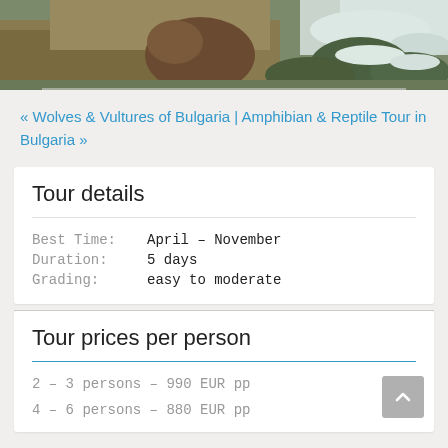[Figure (photo): Nature/wildlife photo showing a brown animal (possibly a wolf or bear) among dry grass and snow-dusted green shrubs]
« Wolves & Vultures of Bulgaria | Amphibian & Reptile Tour in Bulgaria »
Tour details
| Best Time: | April – November |
| Duration: | 5 days |
| Grading: | easy to moderate |
Tour prices per person
2 – 3 persons – 990 EUR pp
4 – 6 persons – 880 EUR pp